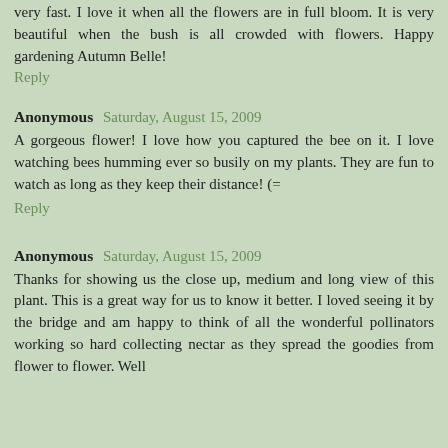very fast. I love it when all the flowers are in full bloom. It is very beautiful when the bush is all crowded with flowers. Happy gardening Autumn Belle!
Reply
Anonymous  Saturday, August 15, 2009
A gorgeous flower! I love how you captured the bee on it. I love watching bees humming ever so busily on my plants. They are fun to watch as long as they keep their distance! (=
Reply
Anonymous  Saturday, August 15, 2009
Thanks for showing us the close up, medium and long view of this plant. This is a great way for us to know it better. I loved seeing it by the bridge and am happy to think of all the wonderful pollinators working so hard collecting nectar as they spread the goodies from flower to flower. Well